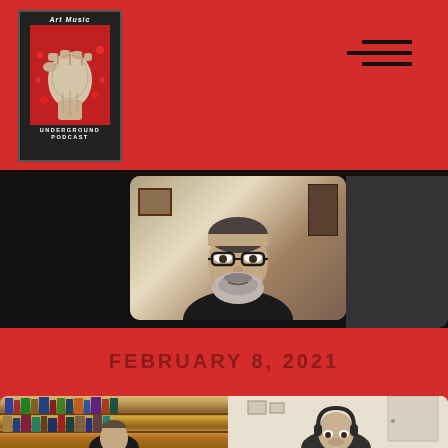[Figure (logo): Art Music Underground Podcast logo — raised fist graphic on dark background with text]
[Figure (illustration): Hamburger menu icon (three horizontal lines)]
[Figure (photo): Video call screenshot of a man with glasses and a gray beard in a home office/study setting]
FEBRUARY 8, 2021
[Figure (photo): Two video call screenshots side by side: left shows a person in front of a bookshelf, right shows a person in a white room wearing headphones]